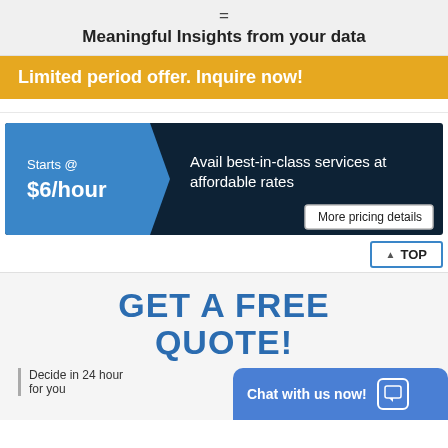=
Meaningful Insights from your data
Limited period offer. Inquire now!
[Figure (infographic): Pricing banner with blue chevron left section showing 'Starts @ $6/hour' and dark navy right section saying 'Avail best-in-class services at affordable rates' with a 'More pricing details' button]
▲ TOP
GET A FREE QUOTE!
Decide in 24 hour for you
Chat with us now!